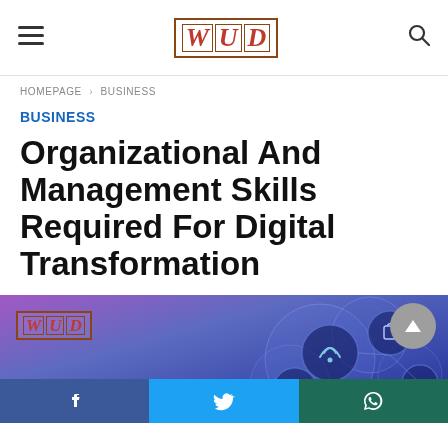WUD — hamburger menu, logo, search icon
HOMEPAGE > BUSINESS
BUSINESS
Organizational And Management Skills Required For Digital Transformation
[Figure (screenshot): WUD logo banner with digital technology background showing blue/purple gradient with circular digital icons overlay, scroll-to-top button, and social share bar with Facebook, Twitter, WhatsApp icons]